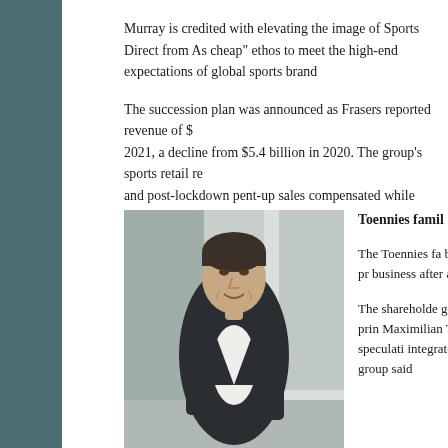Murray is credited with elevating the image of Sports Direct from As cheap" ethos to meet the high-end expectations of global sports bran...
The succession plan was announced as Frasers reported revenue of $... 2021, a decline from $5.4 billion in 2020. The group's sports retail re... and post-lockdown pent-up sales compensated while premium lifesty...
[Figure (photo): A middle-aged man in a dark suit and white shirt smiling, photographed in a modern interior setting.]
Toennies famil...
The Toennies f... billion meat pr... business after a...
The shareholde... generation prin... Maximilian To... settle speculati... integrated food... The group said...